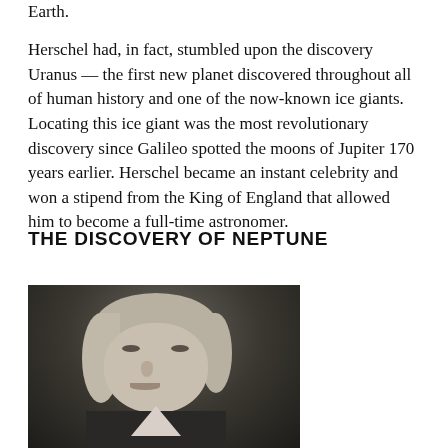Earth.
Herschel had, in fact, stumbled upon the discovery Uranus — the first new planet discovered throughout all of human history and one of the now-known ice giants. Locating this ice giant was the most revolutionary discovery since Galileo spotted the moons of Jupiter 170 years earlier. Herschel became an instant celebrity and won a stipend from the King of England that allowed him to become a full-time astronomer.
THE DISCOVERY OF NEPTUNE
[Figure (photo): Black and white portrait photograph of a man with swept-back white/grey hair, wearing a dark coat with a white collar, shown from roughly the chest up against a dark background.]